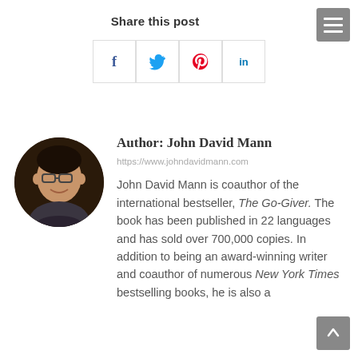Share this post
[Figure (infographic): Row of four social sharing buttons: Facebook (f), Twitter (bird), Pinterest (p), LinkedIn (in)]
[Figure (photo): Circular profile photo of John David Mann, a middle-aged man with glasses, smiling]
Author: John David Mann
https://www.johndavidmann.com
John David Mann is coauthor of the international bestseller, The Go-Giver. The book has been published in 22 languages and has sold over 700,000 copies. In addition to being an award-winning writer and coauthor of numerous New York Times bestselling books, he is also a